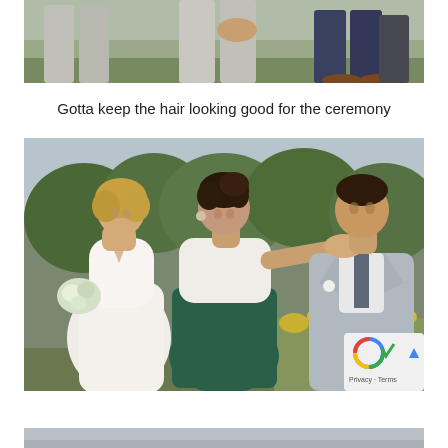[Figure (photo): Partial photo showing lower bodies of groomsmen in light gray and dark navy suits standing in a row outdoors, cropped at waist level]
Gotta keep the hair looking good for the ceremony
[Figure (photo): Outdoor wedding photo showing a bride in a white lace dress holding a bouquet, a woman in a white top and dark teal skirt adjusting the hair of a smiling groom in a light gray suit, with green foliage and yellow wildflowers in the background]
[Figure (photo): Partially visible photo at the bottom of the page, appears to be another outdoor wedding scene with a light blue/gray tone]